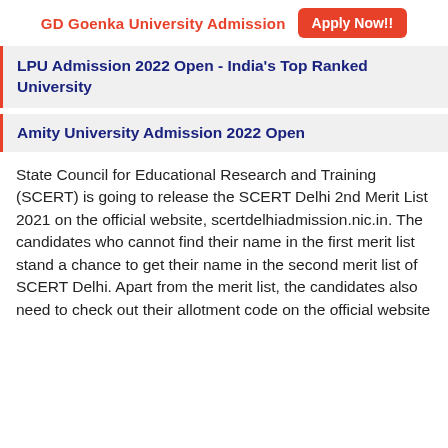GD Goenka University Admission  Apply Now!!
LPU Admission 2022 Open - India's Top Ranked University
Amity University Admission 2022 Open
State Council for Educational Research and Training (SCERT) is going to release the SCERT Delhi 2nd Merit List 2021 on the official website, scertdelhiadmission.nic.in. The candidates who cannot find their name in the first merit list stand a chance to get their name in the second merit list of SCERT Delhi. Apart from the merit list, the candidates also need to check out their allotment code on the official website